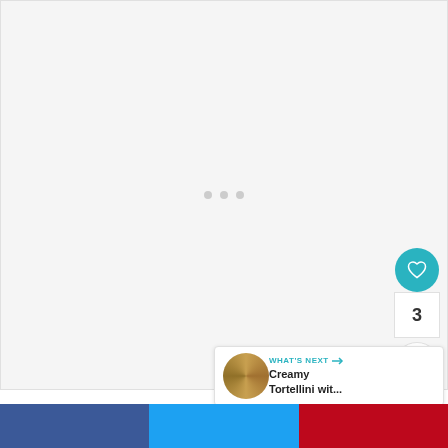[Figure (screenshot): Large light gray loading/placeholder area with three small gray dots centered, indicating content is loading]
[Figure (infographic): Floating teal heart/like button (FAB) with count of 3 below it and a white share button]
3
[Figure (infographic): What's Next card with food thumbnail, label 'WHAT'S NEXT →', and title 'Creamy Tortellini wit...']
WHAT'S NEXT → Creamy Tortellini wit...
[Figure (infographic): Three social share buttons at bottom: Facebook (blue), Twitter (light blue), Pinterest (red)]